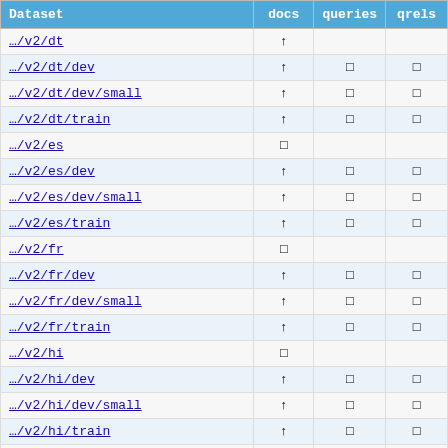| Dataset | docs | queries | qrels |
| --- | --- | --- | --- |
| .../v2/dt | ↑ |  |  |
| .../v2/dt/dev | ↑ | □ | □ |
| .../v2/dt/dev/small | ↑ | □ | □ |
| .../v2/dt/train | ↑ | □ | □ |
| .../v2/es | □ |  |  |
| .../v2/es/dev | ↑ | □ | □ |
| .../v2/es/dev/small | ↑ | □ | □ |
| .../v2/es/train | ↑ | □ | □ |
| .../v2/fr | □ |  |  |
| .../v2/fr/dev | ↑ | □ | □ |
| .../v2/fr/dev/small | ↑ | □ | □ |
| .../v2/fr/train | ↑ | □ | □ |
| .../v2/hi | □ |  |  |
| .../v2/hi/dev | ↑ | □ | □ |
| .../v2/hi/dev/small | ↑ | □ | □ |
| .../v2/hi/train | ↑ | □ | □ |
| .../v2/id | □ |  |  |
| .../v2/id/dev | ↑ | □ | □ |
| .../v2/id/dev/small | ↑ | □ | □ |